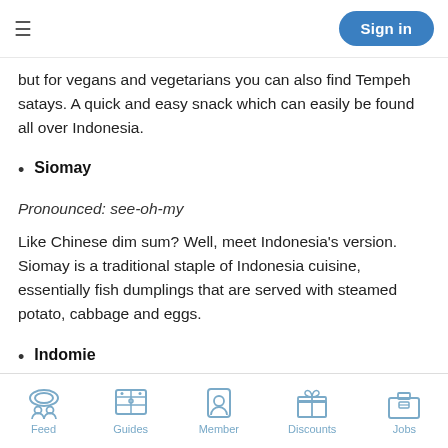≡  Sign in
but for vegans and vegetarians you can also find Tempeh satays. A quick and easy snack which can easily be found all over Indonesia.
Siomay
Pronounced: see-oh-my
Like Chinese dim sum? Well, meet Indonesia's version. Siomay is a traditional staple of Indonesia cuisine, essentially fish dumplings that are served with steamed potato, cabbage and eggs.
Indomie
Feed  Guides  Member  Discounts  Jobs